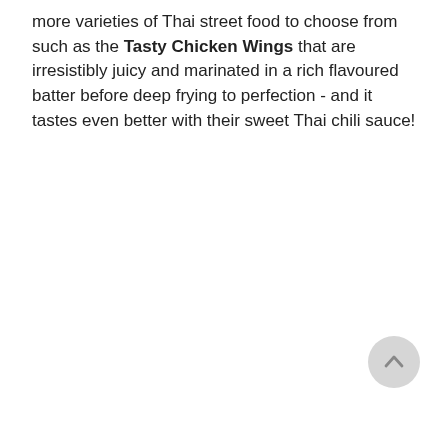more varieties of Thai street food to choose from such as the Tasty Chicken Wings that are irresistibly juicy and marinated in a rich flavoured batter before deep frying to perfection - and it tastes even better with their sweet Thai chili sauce!
[Figure (other): A circular scroll-to-top button with a light grey background and an upward-pointing chevron arrow icon.]